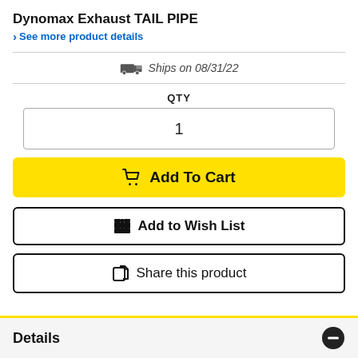Dynomax Exhaust TAIL PIPE
> See more product details
Ships on 08/31/22
QTY
1
Add To Cart
Add to Wish List
Share this product
Details